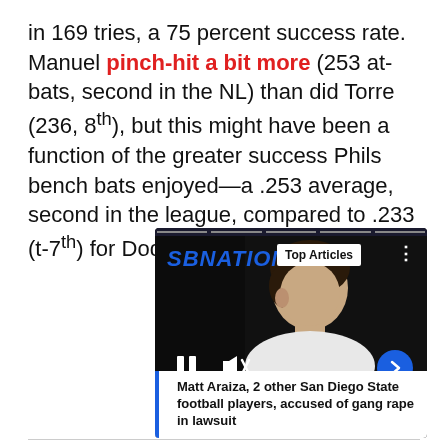in 169 tries, a 75 percent success rate. Manuel pinch-hit a bit more (253 at-bats, second in the NL) than did Torre (236, 8th), but this might have been a function of the greater success Phils bench bats enjoyed—a .253 average, second in the league, compared to .233 (t-7th) for Dodger pinch-hitters.
[Figure (screenshot): SBNation video player screenshot showing a man in a white tank top. The player shows the SBNation logo in blue italic bold, a 'Top Articles' badge, pause and mute icons, a blue arrow button, and a caption at the bottom reading 'Matt Araiza, 2 other San Diego State football players, accused of gang rape in lawsuit']